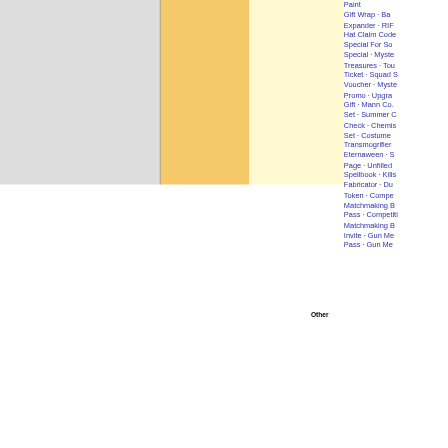[Figure (other): Partial view of a wiki-style table page showing colored columns (gray, orange, light yellow) with a list of item names in blue text partially cut off on the right side. Items include Paint, Gift Wrap, Expander, Hat Claim Code, Special For Someone, Special, Mystery, Treasures, Tournament Ticket, Squad, Voucher, Mystery, Promo, Upgrade, Gift, Mann Co., Set, Summer, Check, Chemistry, Set, Costume, Transmogrifier, Eternaween, Page, Unfilled, Spellbook, Killstreak, Fabricator, Dueling, Token, Competitive, Matchmaking Bypass, Pass, Competitive, Matchmaking Bypass, Invite, Gun Mettle, Pass, Gun Mettle. 'Other' label appears in bold black.]